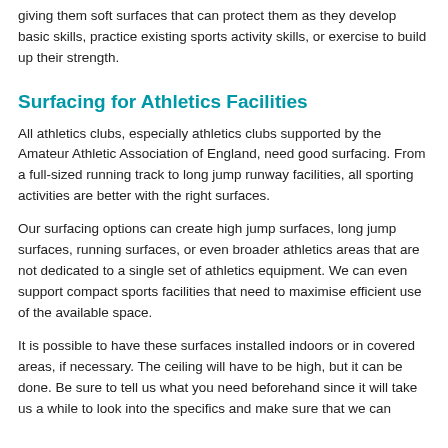giving them soft surfaces that can protect them as they develop basic skills, practice existing sports activity skills, or exercise to build up their strength.
Surfacing for Athletics Facilities
All athletics clubs, especially athletics clubs supported by the Amateur Athletic Association of England, need good surfacing. From a full-sized running track to long jump runway facilities, all sporting activities are better with the right surfaces.
Our surfacing options can create high jump surfaces, long jump surfaces, running surfaces, or even broader athletics areas that are not dedicated to a single set of athletics equipment. We can even support compact sports facilities that need to maximise efficient use of the available space.
It is possible to have these surfaces installed indoors or in covered areas, if necessary. The ceiling will have to be high, but it can be done. Be sure to tell us what you need beforehand since it will take us a while to look into the specifics and make sure that we can